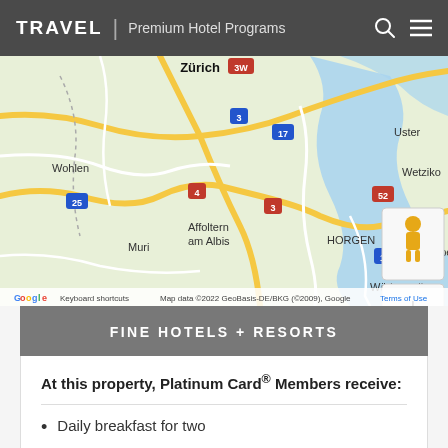TRAVEL | Premium Hotel Programs
[Figure (map): Google Maps screenshot showing Zurich area including locations: Wohlen, Muri, Affoltern am Albis, Horgen, Wädenswil, Uster, Wetzikon, Rapperswil, with road numbers 25, 4, 3W, 3, 17, 52. Map data ©2022 GeoBasis-DE/BKG (©2009), Google]
FINE HOTELS + RESORTS
At this property, Platinum Card® Members receive:
Daily breakfast for two